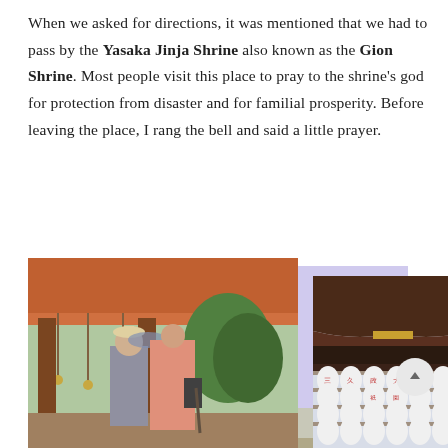When we asked for directions, it was mentioned that we had to pass by the Yasaka Jinja Shrine also known as the Gion Shrine. Most people visit this place to pray to the shrine's god for protection from disaster and for familial prosperity. Before leaving the place, I rang the bell and said a little prayer.
[Figure (photo): Two photos of Yasaka Jinja Shrine side by side: left photo shows two visitors (one in grey, one in pink coat) standing at the shrine entrance with traditional red wooden architecture and hanging ropes; right photo shows the shrine's gate/pagoda structure with rows of white paper lanterns (chochin) hanging beneath the eaves against a pale sky, with dark wooden beams.]
[Figure (photo): Partial bottom image of what appears to be a street or building near the shrine area (cropped, only top portion visible).]